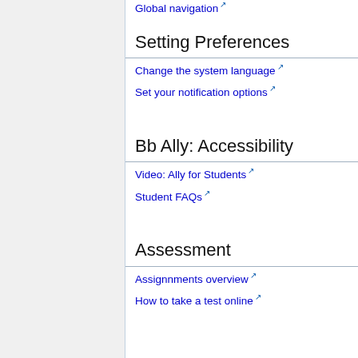Global navigation
Setting Preferences
Change the system language
Set your notification options
Bb Ally: Accessibility
Video: Ally for Students
Student FAQs
Assessment
Assignnments overview
How to take a test online